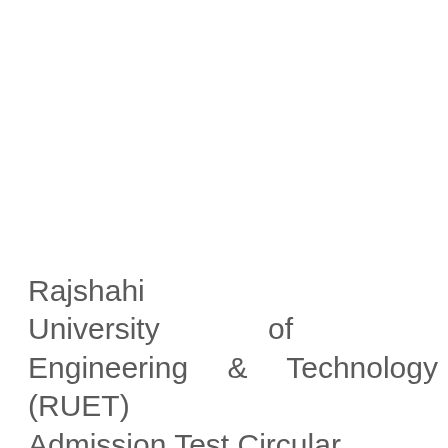Rajshahi University of Engineering & Technology (RUET) Admission Test Circular